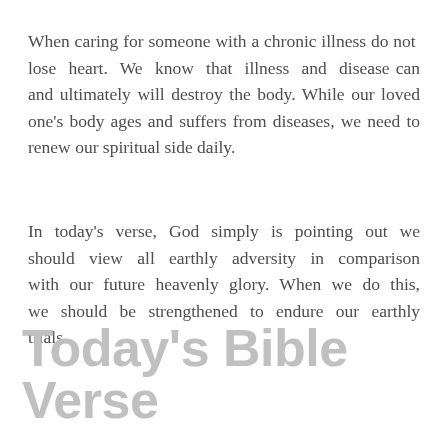When caring for someone with a chronic illness do not lose heart. We know that illness and disease can and ultimately will destroy the body. While our loved one's body ages and suffers from diseases, we need to renew our spiritual side daily.
In today's verse, God simply is pointing out we should view all earthly adversity in comparison with our future heavenly glory. When we do this, we should be strengthened to endure our earthly trials.
Today's Bible Verse